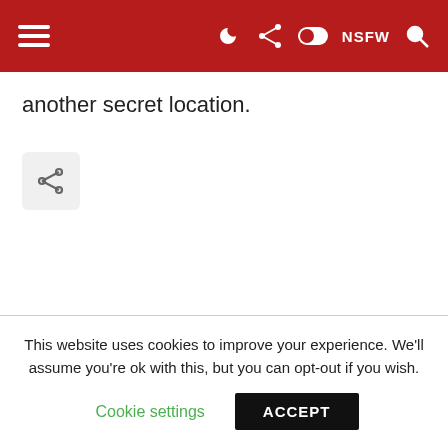Navigation bar with hamburger menu, dark mode toggle, share icon, NSFW toggle, and search icon
another secret location.
[Figure (other): Share button icon (rounded square with share/network icon)]
This website uses cookies to improve your experience. We'll assume you're ok with this, but you can opt-out if you wish.
Cookie settings   ACCEPT